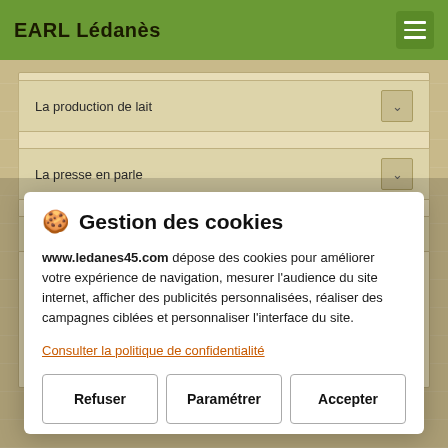EARL Lédanès
La production de lait
La presse en parle
Où retrouver nos produits
🍪 Gestion des cookies
www.ledanes45.com dépose des cookies pour améliorer votre expérience de navigation, mesurer l'audience du site internet, afficher des publicités personnalisées, réaliser des campagnes ciblées et personnaliser l'interface du site.
Consulter la politique de confidentialité
Refuser
Paramétrer
Accepter